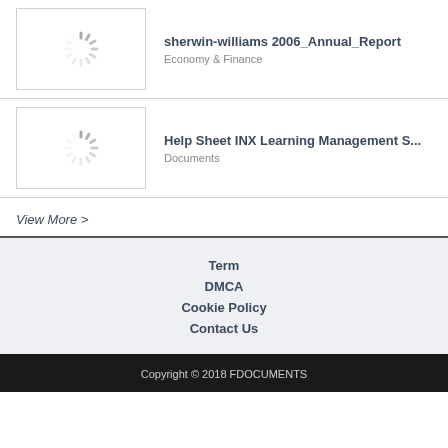sherwin-williams 2006_Annual_Report
Economy & Finance
Help Sheet INX Learning Management S...
Documents
View More >
Term
DMCA
Cookie Policy
Contact Us
Copyright © 2018 FDOCUMENTS